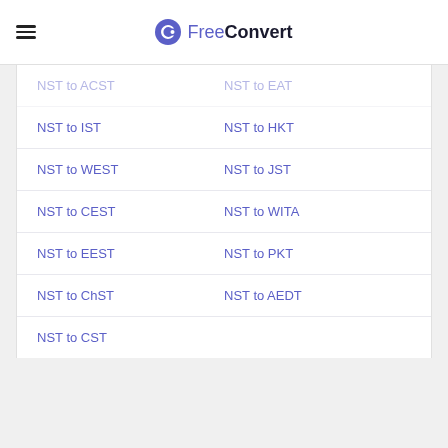FreeConvert
NST to IST
NST to HKT
NST to WEST
NST to JST
NST to CEST
NST to WITA
NST to EEST
NST to PKT
NST to ChST
NST to AEDT
NST to CST